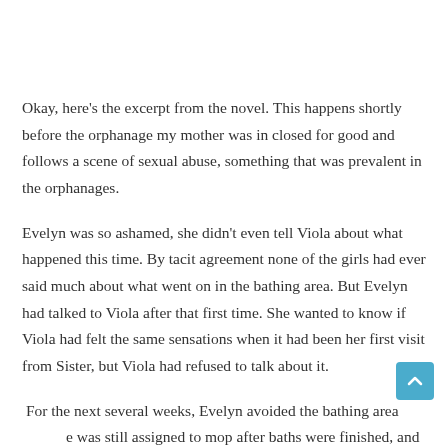Okay, here's the excerpt from the novel. This happens shortly before the orphanage my mother was in closed for good and follows a scene of sexual abuse, something that was prevalent in the orphanages.
Evelyn was so ashamed, she didn't even tell Viola about what happened this time. By tacit agreement none of the girls had ever said much about what went on in the bathing area. But Evelyn had talked to Viola after that first time. She wanted to know if Viola had felt the same sensations when it had been her first visit from Sister, but Viola had refused to talk about it.
For the next several weeks, Evelyn avoided the bathing area. She was still assigned to mop after baths were finished, and she was able to do a quick wash-up while she was alone in there. Keeping